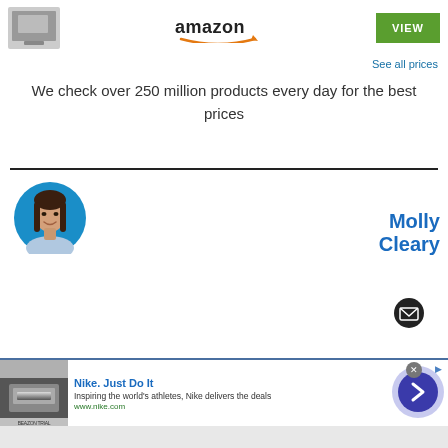[Figure (screenshot): Product image thumbnail of a microwave oven, Amazon logo, and green VIEW button]
See all prices
We check over 250 million products every day for the best prices
[Figure (photo): Circular profile photo of Molly Cleary, a woman with dark hair, on a blue background]
Molly Cleary
[Figure (illustration): Black circular email/envelope icon button]
[Figure (screenshot): Nike advertisement banner: Nike. Just Do It — Inspiring the world's athletes, Nike delivers the deals. www.nike.com]